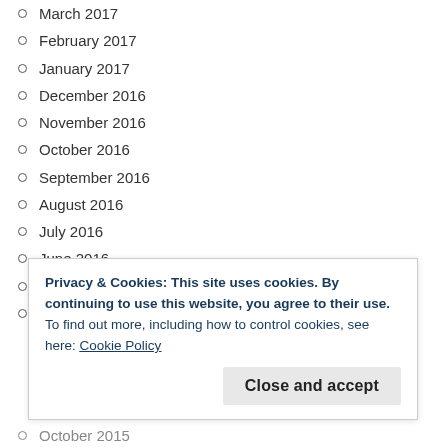March 2017
February 2017
January 2017
December 2016
November 2016
October 2016
September 2016
August 2016
July 2016
June 2016
May 2016
April 2016
Privacy & Cookies: This site uses cookies. By continuing to use this website, you agree to their use.
To find out more, including how to control cookies, see here: Cookie Policy
Close and accept
October 2015